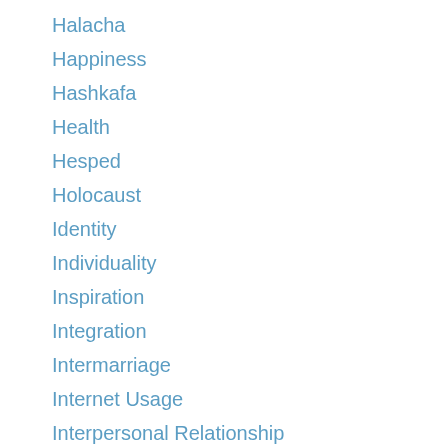Halacha
Happiness
Hashkafa
Health
Hesped
Holocaust
Identity
Individuality
Inspiration
Integration
Intermarriage
Internet Usage
Interpersonal Relationship
Introspection
Israel
Issues
Jewish History
Jewish Lifecycle